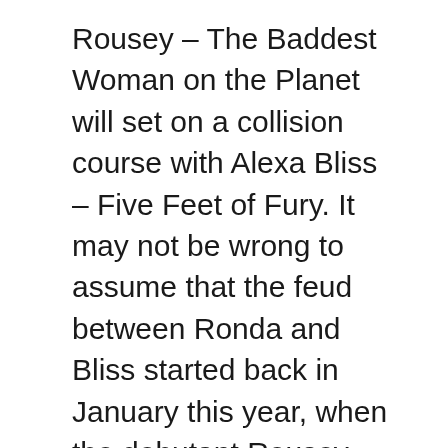Rousey – The Baddest Woman on the Planet will set on a collision course with Alexa Bliss – Five Feet of Fury. It may not be wrong to assume that the feud between Ronda and Bliss started back in January this year, when the debutant Rousey came under the spotlight by taking down the victorious Asuka in Women's Royal Rumble Match. This was followed with smacking down The Goddess of WWE and Charlotte Flair – SmackDown Women's Champion. Any unspoken enmity came to a head only at WWE Money in the Bank, wherein Miss Bliss intervened Ronda's first title opportunity against Nia Jax by attacking both the Superstars and becoming the